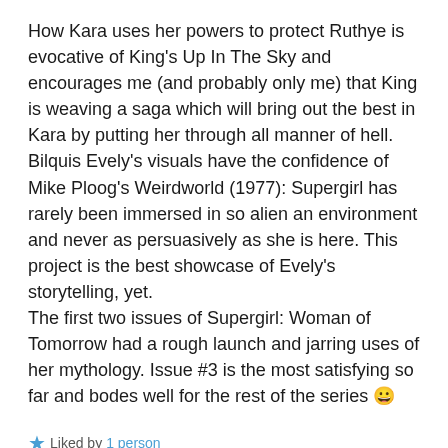How Kara uses her powers to protect Ruthye is evocative of King's Up In The Sky and encourages me (and probably only me) that King is weaving a saga which will bring out the best in Kara by putting her through all manner of hell. Bilquis Evely's visuals have the confidence of Mike Ploog's Weirdworld (1977): Supergirl has rarely been immersed in so alien an environment and never as persuasively as she is here. This project is the best showcase of Evely's storytelling, yet.
The first two issues of Supergirl: Woman of Tomorrow had a rough launch and jarring uses of her mythology. Issue #3 is the most satisfying so far and bodes well for the rest of the series 😀
★ Liked by 1 person